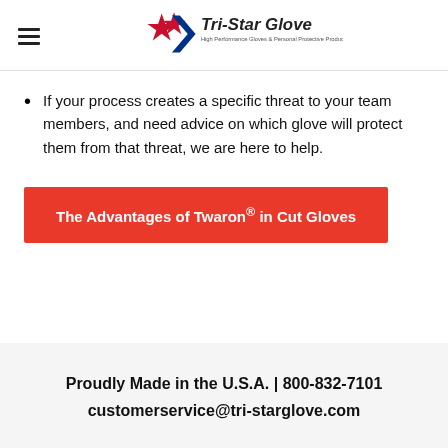Tri-Star Glove — High Performance Gloves & Personal Protective Products
If your process creates a specific threat to your team members, and need advice on which glove will protect them from that threat, we are here to help.
The Advantages of Twaron® in Cut Gloves
Proudly Made in the U.S.A. | 800-832-7101
customerservice@tri-starglove.com